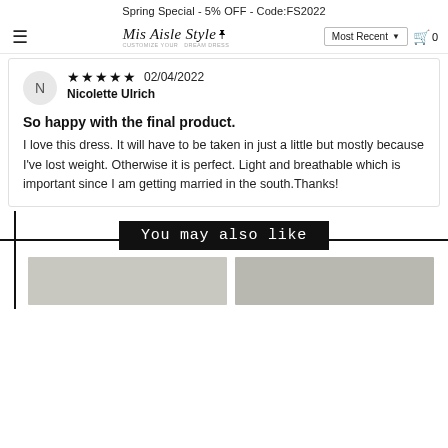Spring Special - 5% OFF - Code:FS2022
[Figure (logo): Mis Aisle Style logo with dress mannequin icon and tagline 'Customize Your Dream Dress']
★★★★★ 02/04/2022
Nicolette Ulrich
So happy with the final product.
I love this dress. It will have to be taken in just a little but mostly because I've lost weight. Otherwise it is perfect. Light and breathable which is important since I am getting married in the south.Thanks!
You may also like